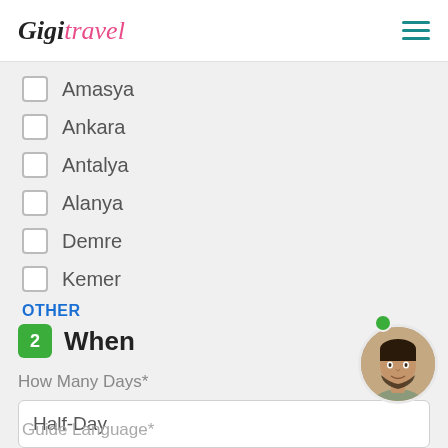[Figure (logo): GigiTravel cursive logo in black and pink]
Amasya
Ankara
Antalya
Alanya
Demre
Kemer
OTHER
2 When
How Many Days*
Half-Day
Guide Language*
[Figure (photo): Circular avatar photo of a young man with dark hair and beard, smiling, with a green online indicator dot]